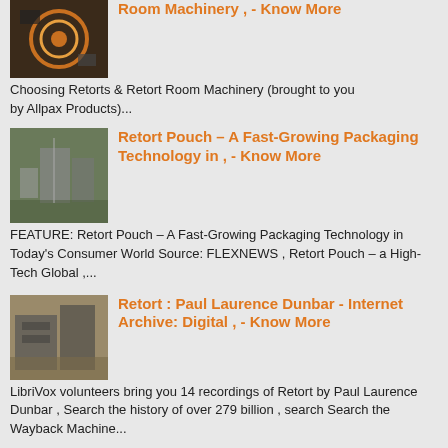Room Machinery , - Know More
Choosing Retorts & Retort Room Machinery (brought to you by Allpax Products)...
Retort Pouch – A Fast-Growing Packaging Technology in , - Know More
FEATURE: Retort Pouch – A Fast-Growing Packaging Technology in Today's Consumer World Source: FLEXNEWS , Retort Pouch – a High-Tech Global ,...
Retort : Paul Laurence Dunbar - Internet Archive: Digital , - Know More
LibriVox volunteers bring you 14 recordings of Retort by Paul Laurence Dunbar , Search the history of over 279 billion , search Search the Wayback Machine...
Retort pouch - Wikipedia - Know More
A retort pouch is a type of food packaging made from a laminate of flexible plastic and metal foils It allows the sterile packaging of a wide variety of food and ....